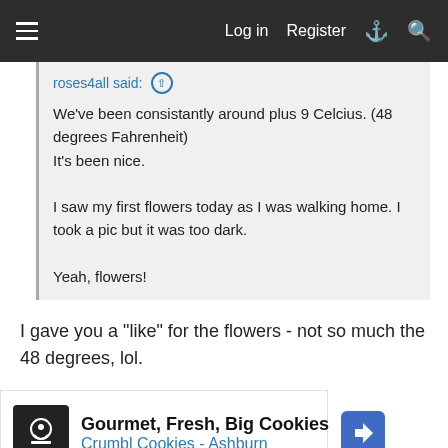Log in  Register
roses4all said: ↑

We've been consistantly around plus 9 Celcius. (48 degrees Fahrenheit)
It's been nice.

I saw my first flowers today as I was walking home. I took a pic but it was too dark.

Yeah, flowers!
I gave you a "like" for the flowers - not so much the 48 degrees, lol.
[Figure (screenshot): Advertisement for Crumbl Cookies - Ashburn showing logo, title 'Gourmet, Fresh, Big Cookies', navigation icon, and emoji reaction]